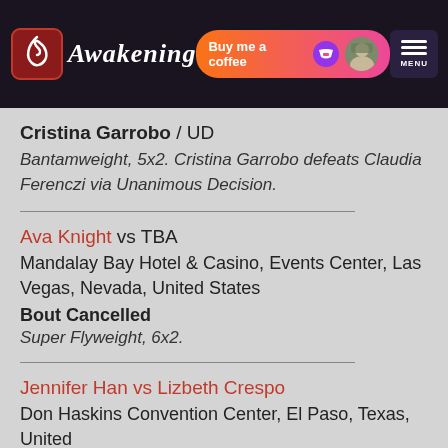Awakening | Buy me a coffee | MENU
Cristina Garrobo / UD
Bantamweight, 5x2. Cristina Garrobo defeats Claudia Ferenczi via Unanimous Decision.
Ava Knight vs TBA
Mandalay Bay Hotel & Casino, Events Center, Las Vegas, Nevada, United States
Bout Cancelled
Super Flyweight, 6x2.
Jennifer Han vs Lizbeth Crespo
Don Haskins Convention Center, El Paso, Texas, United